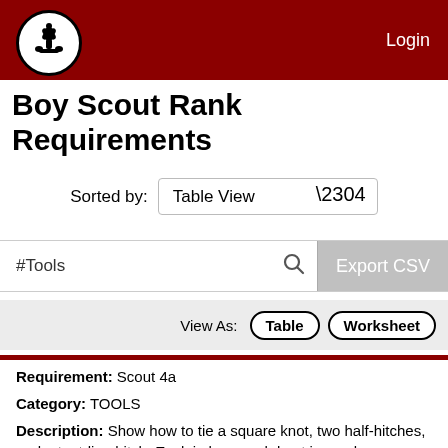Login
Boy Scout Rank Requirements
Sorted by: Table View
#Tools  Export CSV
View As: Table  Worksheet
Requirement: Scout 4a
Category: TOOLS
Description: Show how to tie a square knot, two half-hitches, and a taut-line hitch. Explain how each knot is used.